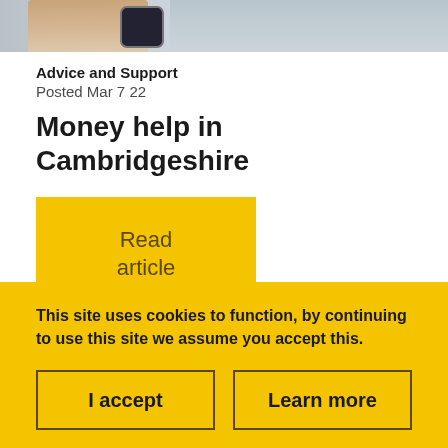[Figure (photo): Cropped photo showing a person's wrist wearing a watch, with a blurred background]
Advice and Support
Posted Mar 7 22
Money help in Cambridgeshire
Read article
This site uses cookies to function, by continuing to use this site we assume you accept this.
I accept
Learn more